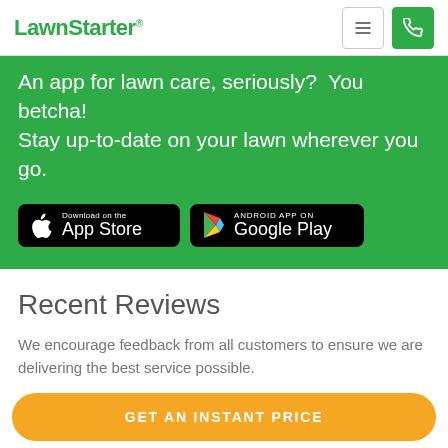LawnStarter
[Figure (screenshot): Green promotional banner with text about app for lawn care and app store download badges]
An app for lawn care, seriously?  You betcha! Stay up-to-date on your lawn wherever you go.
Recent Reviews
We encourage feedback from all customers to ensure we are delivering the best service possible.
GET AN INSTANT PRICE